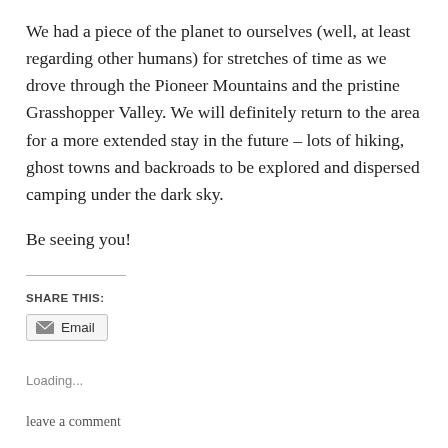We had a piece of the planet to ourselves (well, at least regarding other humans) for stretches of time as we drove through the Pioneer Mountains and the pristine Grasshopper Valley. We will definitely return to the area for a more extended stay in the future – lots of hiking, ghost towns and backroads to be explored and dispersed camping under the dark sky.
Be seeing you!
SHARE THIS:
Email
Loading...
leave a comment